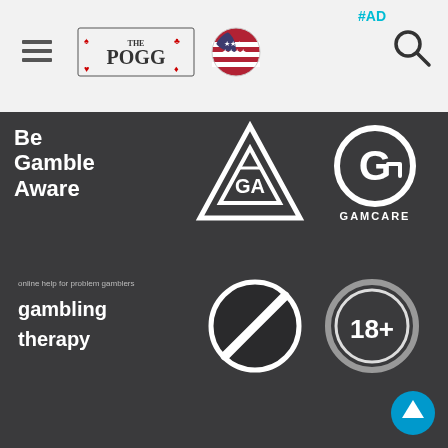#AD
[Figure (logo): The POGG website logo with playing card suits]
[Figure (logo): US flag circle icon]
[Figure (logo): Hamburger menu icon]
[Figure (logo): Search magnifying glass icon]
[Figure (logo): Be Gamble Aware logo (white text on dark background)]
[Figure (logo): GA triangle logo (Gamblers Anonymous style)]
[Figure (logo): GamCare G logo]
[Figure (logo): Gambling Therapy logo - online help for problem gamblers]
[Figure (logo): No gambling / prohibited circle icon (black circle with diagonal line)]
[Figure (logo): 18+ age restriction badge (circle with 18+)]
[Figure (logo): #AD badge in grey circle]
This site advertises gambling. Gambling is a risk based activity - the entertainment value is directly derived from the risks being taken. ThePOGG.com always encourages all players to engage with gambling in a responsible fashion and accepts no liability for any harm or detriment that may result as a consequence of your engagement with the gambling services advertised here. All gambling you undertake is strictly at your own risk. If you are